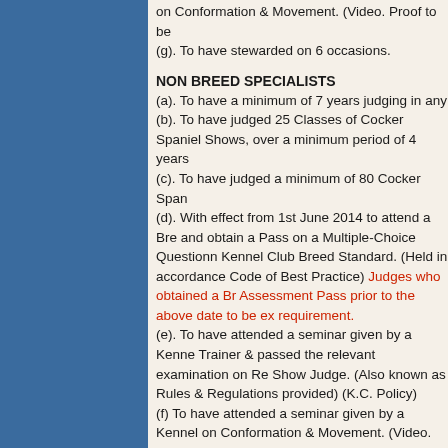on Conformation & Movement. (Video. Proof to be
(g). To have stewarded on 6 occasions.
NON BREED SPECIALISTS
(a). To have a minimum of 7 years judging in any
(b). To have judged 25 Classes of Cocker Spaniel Shows, over a minimum period of 4 years
(c). To have judged a minimum of 80 Cocker Span
(d). With effect from 1st June 2014 to attend a Bre and obtain a Pass on a Multiple-Choice Questionn Kennel Club Breed Standard. (Held in accordance Code of Best Practice) Judges who obtained a Br Assessment Pass prior to the above date to be ex requirement.
(e). To have attended a seminar given by a Kenne Trainer & passed the relevant examination on Re Show Judge. (Also known as Rules & Regulations provided) (K.C. Policy)
(f) To have attended a seminar given by a Kennel on Conformation & Movement. (Video. Proof to be
(g). To have stewarded on 6 occasions.
"C" LIST
The KC have directed, that, with effect from Janua